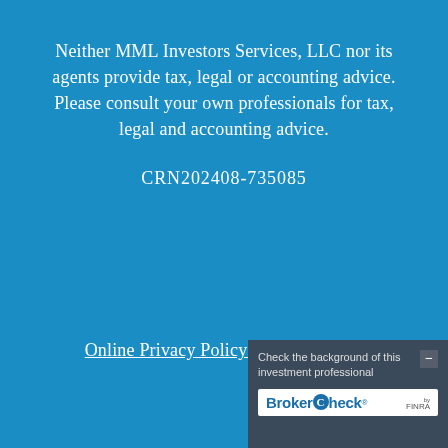Neither MML Investors Services, LLC nor its agents provide tax, legal or accounting advice. Please consult your own professionals for tax, legal and accounting advice.
CRN202408-735085
Online Privacy Policy | Legal Notices
[Figure (logo): BrokerCheck by FINRA widget with text 'Check the background of this investment professional' and BrokerCheck logo]